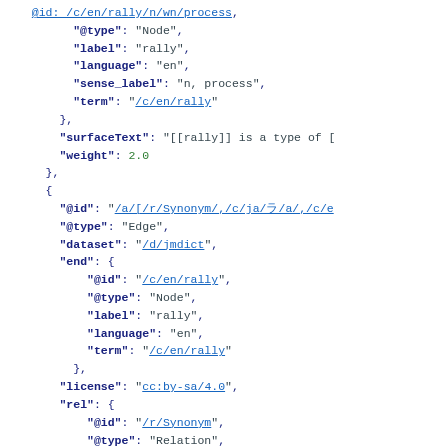JSON/linked data code snippet showing ConceptNet edge data with @type Node, label rally, language en, sense_label n process, term /c/en/rally, surfaceText, weight 2.0, and an Edge entry with @id /a/[/r/Synonym/,/c/ja/.../a/,/c/e..., @type Edge, dataset /d/jmdict, end node @id /c/en/rally @type Node label rally language en term /c/en/rally, license cc:by-sa/4.0, rel @id /r/Synonym @type Relation label Synonym